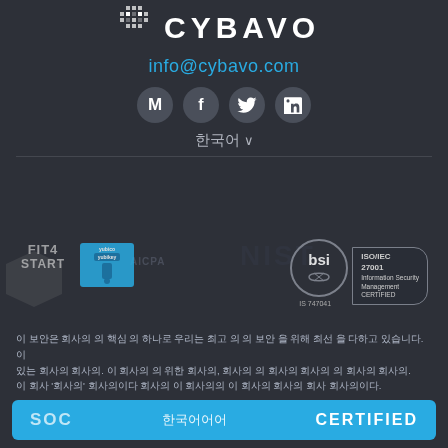[Figure (logo): CYBAVO logo with geometric cross/star icon in white on dark background]
info@cybavo.com
[Figure (infographic): Social media icons: M (Medium), f (Facebook), bird (Twitter), in (LinkedIn) in grey circles]
한국어 ∨
[Figure (infographic): Certification logos: FIT4 START, Yubico/YubiKey, BSI ISO/IEC 27001 Information Security Management Certified, IS 747041, AICPA SOC, NIST watermarks]
이 보안은 회사의 의 핵심 의 하나로 우리는 최고 의 의 보안 을 위해 최선 을 다하고 있습니다. 있는 회사의 회사의. 이 회사의 의 위한 회사의, 회사의 의 회사의 회사의 의 회사의 회사의. 이 회사 '회사의' 회사의이다 회사의 이 회사의의 이 회사의 회사의 회사 회사의이다.
[Figure (infographic): Blue bar with SOC, Korean text, and CERTIFIED label]